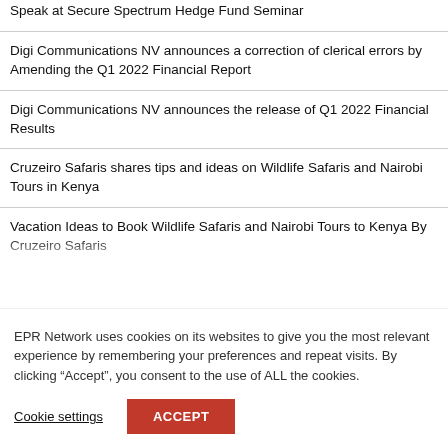Speak at Secure Spectrum Hedge Fund Seminar
Digi Communications NV announces a correction of clerical errors by Amending the Q1 2022 Financial Report
Digi Communications NV announces the release of Q1 2022 Financial Results
Cruzeiro Safaris shares tips and ideas on Wildlife Safaris and Nairobi Tours in Kenya
Vacation Ideas to Book Wildlife Safaris and Nairobi Tours to Kenya By Cruzeiro Safaris
EPR Network uses cookies on its websites to give you the most relevant experience by remembering your preferences and repeat visits. By clicking “Accept”, you consent to the use of ALL the cookies.
Cookie settings
ACCEPT